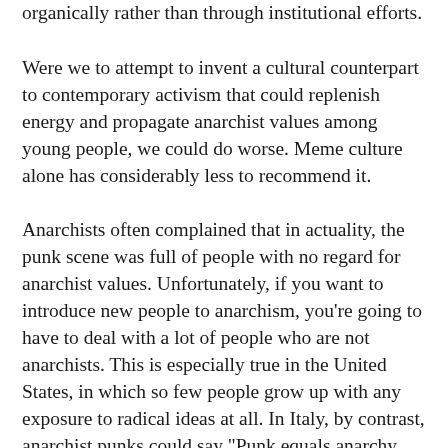organically rather than through institutional efforts.
Were we to attempt to invent a cultural counterpart to contemporary activism that could replenish energy and propagate anarchist values among young people, we could do worse. Meme culture alone has considerably less to recommend it.
Anarchists often complained that in actuality, the punk scene was full of people with no regard for anarchist values. Unfortunately, if you want to introduce new people to anarchism, you’re going to have to deal with a lot of people who are not anarchists. This is especially true in the United States, in which so few people grow up with any exposure to radical ideas at all. In Italy, by contrast, anarchist punks could say “Punk equals anarchy